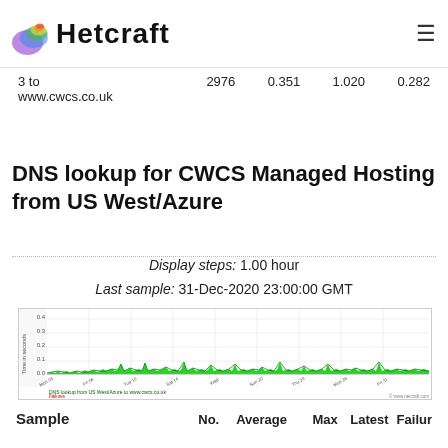Netcraft
| 3 to
www.cwcs.co.uk | 2976 | 0.351 | 1.020 | 0.282 |
DNS lookup for CWCS Managed Hosting from US West/Azure
Display steps: 1.00 hour
Last sample: 31-Dec-2020 23:00:00 GMT
[Figure (continuous-plot): Time series chart showing DNS lookup times in seconds over time, with green filled area near baseline and occasional spikes. X-axis shows dates, y-axis shows time in seconds. Label: DNS lookup from US West/Azure to www.cwcs.co.uk. Failures noted.]
| Sample | No. | Average | Max | Latest | Failur |
| --- | --- | --- | --- | --- | --- |